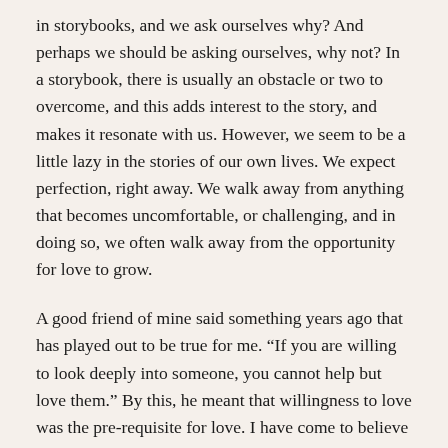in storybooks, and we ask ourselves why? And perhaps we should be asking ourselves, why not? In a storybook, there is usually an obstacle or two to overcome, and this adds interest to the story, and makes it resonate with us. However, we seem to be a little lazy in the stories of our own lives. We expect perfection, right away. We walk away from anything that becomes uncomfortable, or challenging, and in doing so, we often walk away from the opportunity for love to grow.
A good friend of mine said something years ago that has played out to be true for me. “If you are willing to look deeply into someone, you cannot help but love them.” By this, he meant that willingness to love was the pre-requisite for love. I have come to believe we have within us the ability to cultivate love, and to also cultivate an expectation that we will see the good in people. That makes it much easier to both find love, and to keep it growing when we have found it, whether that is friendship or a deeper kind of experience.